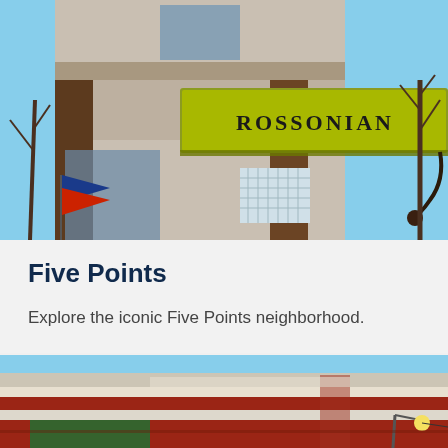[Figure (photo): Exterior photo of the Rossonian building in Five Points neighborhood. A multi-story brick building with a yellow and green marquee sign reading 'ROSSONIAN'. Blue flag visible on left side, bare winter trees on right, blue sky background.]
Five Points
Explore the iconic Five Points neighborhood.
[Figure (photo): Close-up exterior photo of a red brick corner building with white trim and decorative stonework, partially visible green sign and a street lamp. Blue sky in background.]